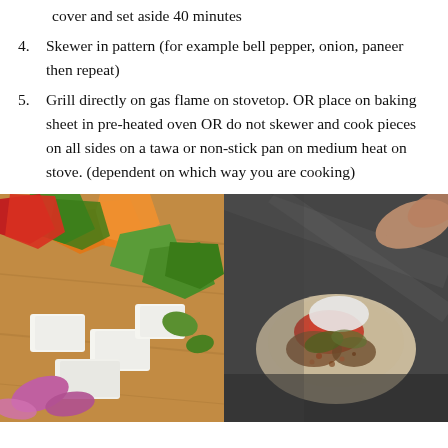cover and set aside 40 minutes
4. Skewer in pattern (for example bell pepper, onion, paneer then repeat)
5. Grill directly on gas flame on stovetop. OR place on baking sheet in pre-heated oven OR do not skewer and cook pieces on all sides on a tawa or non-stick pan on medium heat on stove. (dependent on which way you are cooking)
[Figure (photo): Chopped bell peppers in red, orange, green colors with white paneer cubes and red onion petals on a wooden surface]
[Figure (photo): Spices including red chili powder, garam masala, salt and other spices being mixed on a dark metallic surface]